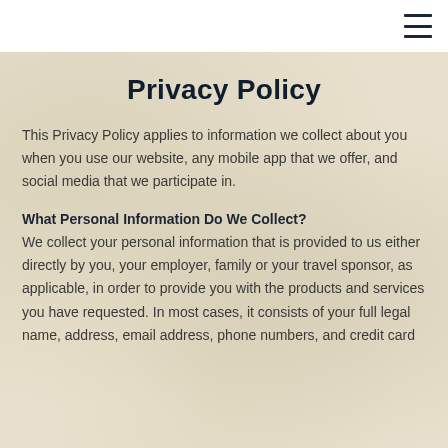Privacy Policy
This Privacy Policy applies to information we collect about you when you use our website, any mobile app that we offer, and social media that we participate in.
What Personal Information Do We Collect?
We collect your personal information that is provided to us either directly by you, your employer, family or your travel sponsor, as applicable, in order to provide you with the products and services you have requested. In most cases, it consists of your full legal name, address, email address, phone numbers, and credit card